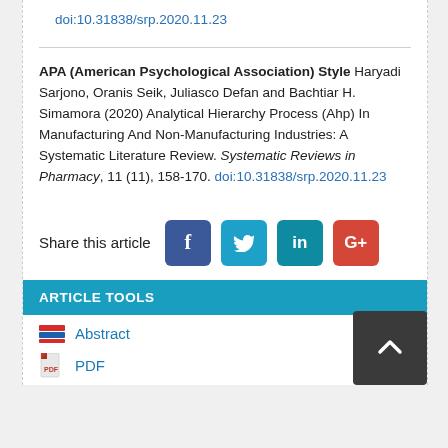doi:10.31838/srp.2020.11.23
APA (American Psychological Association) Style Haryadi Sarjono, Oranis Seik, Juliasco Defan and Bachtiar H. Simamora (2020) Analytical Hierarchy Process (Ahp) In Manufacturing And Non-Manufacturing Industries: A Systematic Literature Review. Systematic Reviews in Pharmacy, 11 (11), 158-170. doi:10.31838/srp.2020.11.23
Share this article
ARTICLE TOOLS
Abstract
PDF